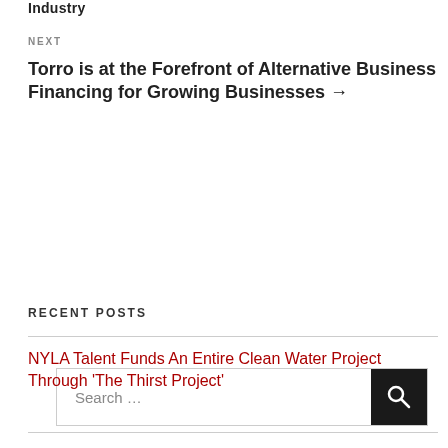Industry
NEXT
Torro is at the Forefront of Alternative Business Financing for Growing Businesses →
Search …
RECENT POSTS
NYLA Talent Funds An Entire Clean Water Project Through 'The Thirst Project'